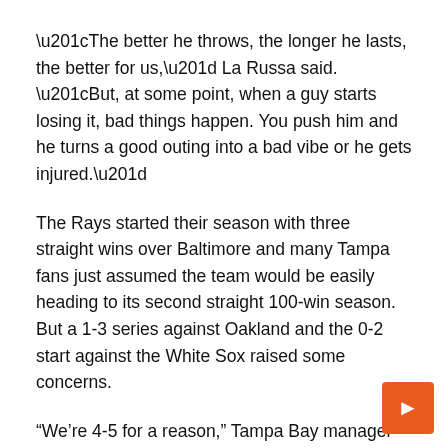“The better he throws, the longer he lasts, the better for us,” La Russa said. “But, at some point, when a guy starts losing it, bad things happen. You push him and he turns a good outing into a bad vibe or he gets injured.”
The Rays started their season with three straight wins over Baltimore and many Tampa fans just assumed the team would be easily heading to its second straight 100-win season. But a 1-3 series against Oakland and the 0-2 start against the White Sox raised some concerns.
“We’re 4-5 for a reason,” Tampa Bay manager Kevin Cash said. “We haven’t had as many minimized for example, our organization...